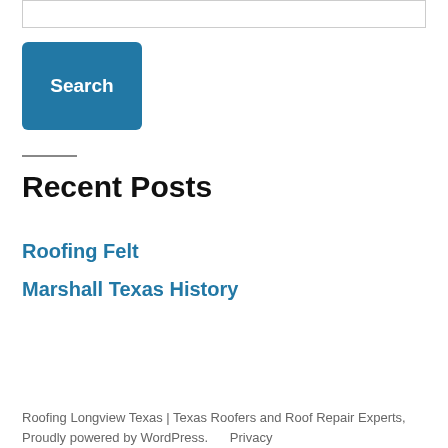[Figure (screenshot): Search input box at top of page]
[Figure (screenshot): Blue Search button]
Recent Posts
Roofing Felt
Marshall Texas History
Roofing Longview Texas | Texas Roofers and Roof Repair Experts, Proudly powered by WordPress.      Privacy